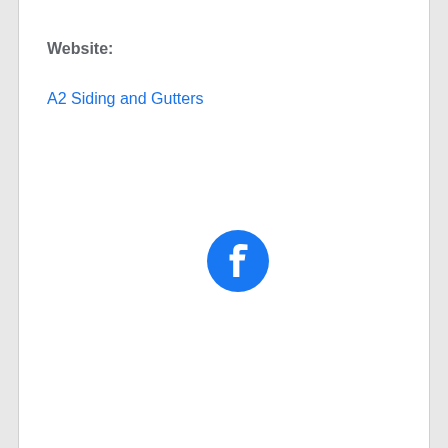Website:
A2 Siding and Gutters
[Figure (logo): Facebook circular logo icon in blue with white 'f' letterform]